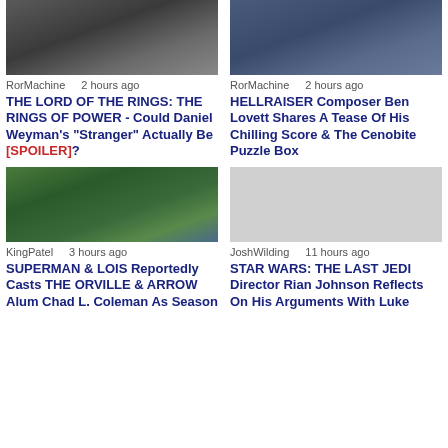[Figure (photo): Blurry dark image, Lord of the Rings thumbnail]
RorMachine    2 hours ago
THE LORD OF THE RINGS: THE RINGS OF POWER - Could Daniel Weyman's "Stranger" Actually Be [SPOILER]?
[Figure (photo): Blurry blue-toned image, Hellraiser thumbnail]
RorMachine    2 hours ago
HELLRAISER Composer Ben Lovett Shares A Tease Of His Chilling Score & The Cenobite Puzzle Box
[Figure (photo): Person wearing dark hat against green background, Superman & Lois thumbnail]
KingPatel    3 hours ago
SUPERMAN & LOIS Reportedly Casts THE ORVILLE & ARROW Alum Chad L. Coleman As Season
[Figure (photo): Light gray placeholder image, Star Wars thumbnail]
JoshWilding    11 hours ago
STAR WARS: THE LAST JEDI Director Rian Johnson Reflects On His Arguments With Luke